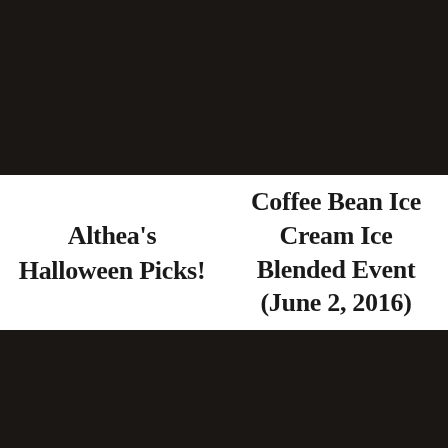[Figure (photo): Black/dark photo block, top left]
[Figure (photo): Black/dark photo block, top right]
Althea's Halloween Picks!
Coffee Bean Ice Cream Ice Blended Event (June 2, 2016)
[Figure (photo): Black/dark photo block, bottom left]
[Figure (photo): Black/dark photo block, bottom right]